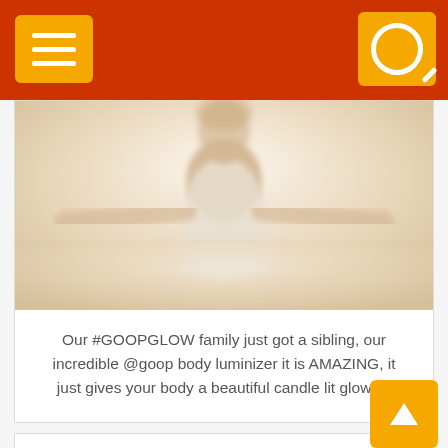Navigation bar with menu and search buttons
[Figure (photo): Blurred/soft-focus photo of a person in a white sleeveless top with arms spread, warm beige/cream tones]
Our #GOOPGLOW family just got a sibling, our incredible @goop body luminizer it is AMAZING, it just gives your body a beautiful candle lit glow all
❤ 192,597 Likes | 1161 days ago | 988
[Figure (screenshot): Gwyneth Paltrow post on Instagram link/image placeholder]
Stockholm Syndrome #brilliantminds